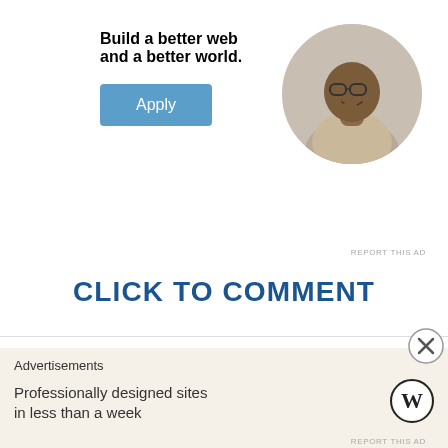Build a better web and a better world.
Apply
[Figure (photo): Circular photo of a Black man smiling, resting his chin on his hand, seated at a desk]
REPORT THIS AD
CLICK TO COMMENT
Germaine Greer: Transgender women are 'not
Advertisements
Professionally designed sites in less than a week
[Figure (logo): WordPress logo (W in a circle)]
REPORT THIS AD